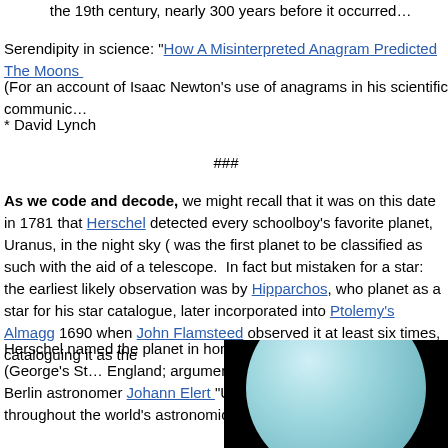the 19th century, nearly 300 years before it occurred…
Serendipity in science: "How A Misinterpreted Anagram Predicted The Moons…
(For an account of Isaac Newton's use of anagrams in his scientific communic…
* David Lynch
###
As we code and decode, we might recall that it was on this date in 1781 that Herschel detected every schoolboy's favorite planet, Uranus, in the night sky (… was the first planet to be classified as such with the aid of a telescope. In fact… but mistaken for a star: the earliest likely observation was by Hipparchos, who… planet as a star for his star catalogue, later incorporated into Ptolemy's Almagg… 1690 when John Flamsteed observed it at least six times, cataloguing it as the…
Herschel named the planet in honor of his King: Georgium Sidus (George's St… England; argument over alternatives ensued. Berlin astronomer Johann Elert… "Uranus," which was adopted throughout the world's astronomical community…
[Figure (photo): Black background with the planet Uranus visible as a pale blue-green sphere, partially cropped at the bottom of the image.]